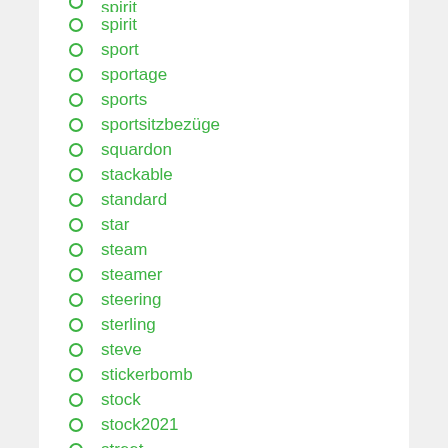spirit
sport
sportage
sports
sportsitzbezüge
squardon
stackable
standard
star
steam
steamer
steering
sterling
steve
stickerbomb
stock
stock2021
street
stretch